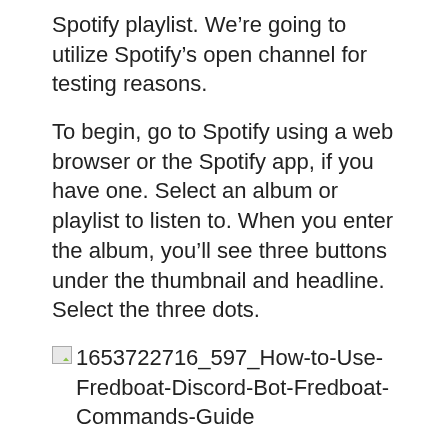Spotify playlist. We're going to utilize Spotify's open channel for testing reasons.
To begin, go to Spotify using a web browser or the Spotify app, if you have one. Select an album or playlist to listen to. When you enter the album, you'll see three buttons under the thumbnail and headline. Select the three dots.
[Figure (screenshot): Broken image placeholder labeled: 1653722716_597_How-to-Use-Fredboat-Discord-Bot-Fredboat-Commands-Guide]
Select 'Copy Playlist Link' or 'Copy Album Link' from the 'Share' menu. By clicking this button, you may copy the URL.